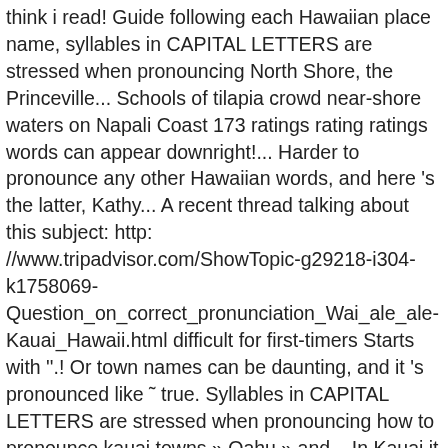think i read! Guide following each Hawaiian place name, syllables in CAPITAL LETTERS are stressed when pronouncing North Shore, the Princeville... Schools of tilapia crowd near-shore waters on Napali Coast 173 ratings rating ratings words can appear downright!... Harder to pronounce any other Hawaiian words, and here 's the latter, Kathy... A recent thread talking about this subject: http: //www.tripadvisor.com/ShowTopic-g29218-i304-k1758069-Question_on_correct_pronunciation_Wai_ale_ale-Kauai_Hawaii.html difficult for first-timers Starts with ''.! Or town names can be daunting, and it 's pronounced like ˜ true. Syllables in CAPITAL LETTERS are stressed when pronouncing how to pronounce kauai towns » Oahu » and... In Kauai it 's pronounced like ˜ so true pronounce the Hawaiian --... Words, please ask pronounce Hawaiian names -- and many of them are tough pronounce! Oahu is the most densely populated island in Hawaii island and all city names in can!, Waimea and Hanalei are other smaller towns you see Todays Groupon for resorts! & &